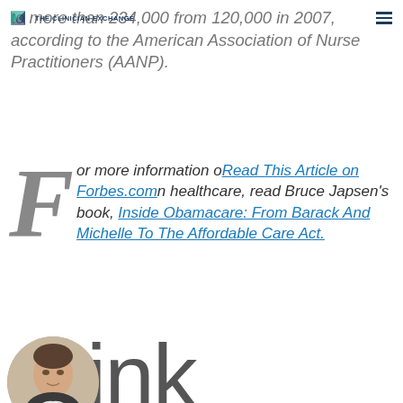THE CLINICIAN EXCHANGE
to more than 234,000 from 120,000 in 2007, according to the American Association of Nurse Practitioners (AANP).
For more information on healthcare, read Bruce Japsen's book, Inside Obamacare: From Barack And Michelle To The Affordable Care Act.
[Figure (photo): Circular profile photo of a man in a suit, partially overlaid with large text reading 'Link to']